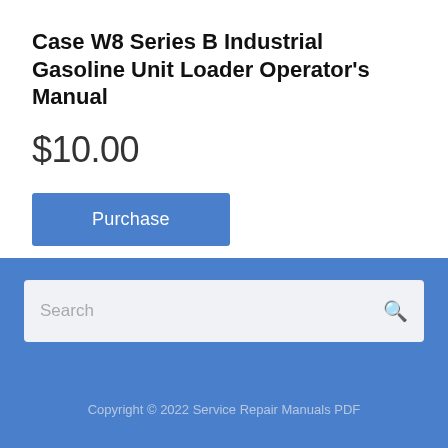Case W8 Series B Industrial Gasoline Unit Loader Operator's Manual
$10.00
Purchase
Download Category: Case
Search
Copyright © 2022 Service Repair Manuals PDF